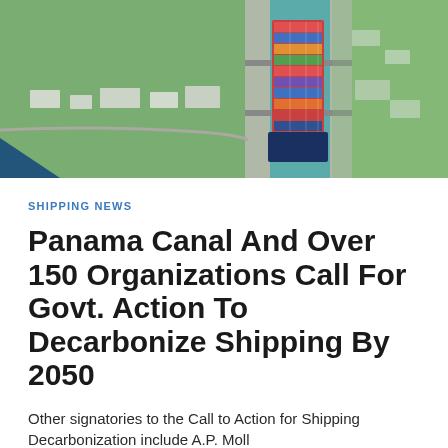[Figure (photo): Aerial photograph of the Panama Canal locks with a large container ship passing through. The image shows the canal infrastructure, green grass areas, buildings, and the teal/blue-green water of the canal. A colorful container ship is visible in the lock.]
SHIPPING NEWS
Panama Canal And Over 150 Organizations Call For Govt. Action To Decarbonize Shipping By 2050
Other signatories to the Call to Action for Shipping Decarbonization include A.P. Moll...